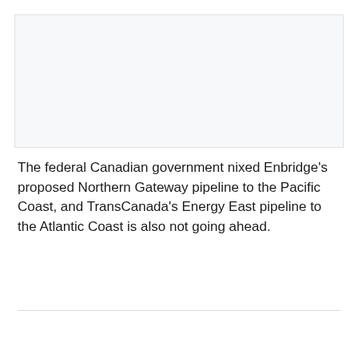[Figure (other): Blank light grey image placeholder area at top of page]
The federal Canadian government nixed Enbridge's proposed Northern Gateway pipeline to the Pacific Coast, and TransCanada's Energy East pipeline to the Atlantic Coast is also not going ahead.